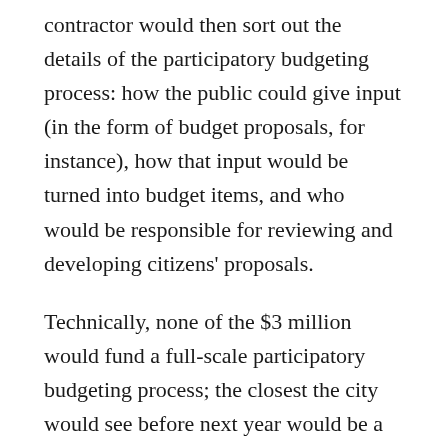contractor would then sort out the details of the participatory budgeting process: how the public could give input (in the form of budget proposals, for instance), how that input would be turned into budget items, and who would be responsible for reviewing and developing citizens' proposals.
Technically, none of the $3 million would fund a full-scale participatory budgeting process; the closest the city would see before next year would be a small test run. However, according to King County Equity Now Research Director Shaun Glaze, the two organizations want to see a full participatory budget process come to fruition before budget discussions next year. More specifically, Glaze says her organization hopes that the participatory budgeting